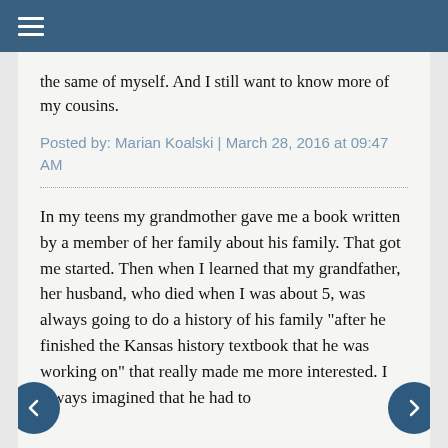≡
the same of myself. And I still want to know more of my cousins.
Posted by: Marian Koalski | March 28, 2016 at 09:47 AM
In my teens my grandmother gave me a book written by a member of her family about his family. That got me started. Then when I learned that my grandfather, her husband, who died when I was about 5, was always going to do a history of his family "after he finished the Kansas history textbook that he was working on" that really made me more interested. I always imagined that he had to